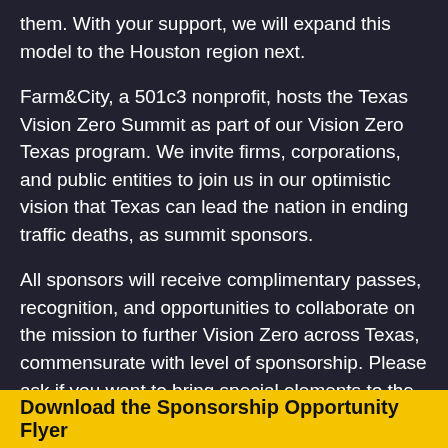them. With your support, we will expand this model to the Houston region next.
Farm&City, a 501c3 nonprofit, hosts the Texas Vision Zero Summit as part of our Vision Zero Texas program. We invite firms, corporations, and public entities to join us in our optimistic vision that Texas can lead the nation in ending traffic deaths, as summit sponsors.
All sponsors will receive complimentary passes, recognition, and opportunities to collaborate on the mission to further Vision Zero across Texas, commensurate with level of sponsorship. Please ask if you want to bring special elements to the summit experience.
Download the Sponsorship Opportunity Flyer